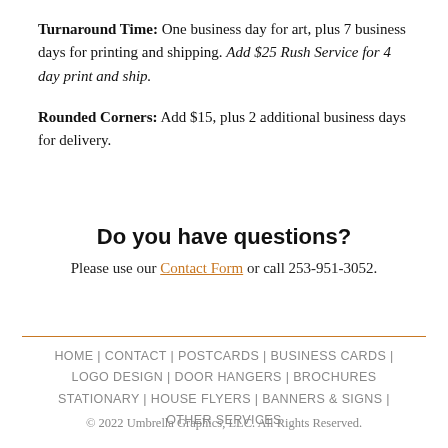Turnaround Time: One business day for art, plus 7 business days for printing and shipping. Add $25 Rush Service for 4 day print and ship.
Rounded Corners: Add $15, plus 2 additional business days for delivery.
Do you have questions?
Please use our Contact Form or call 253-951-3052.
HOME | CONTACT | POSTCARDS | BUSINESS CARDS | LOGO DESIGN | DOOR HANGERS | BROCHURES STATIONARY | HOUSE FLYERS | BANNERS & SIGNS | OTHER SERVICES
© 2022 Umbrella Graphics, LLC. All Rights Reserved.